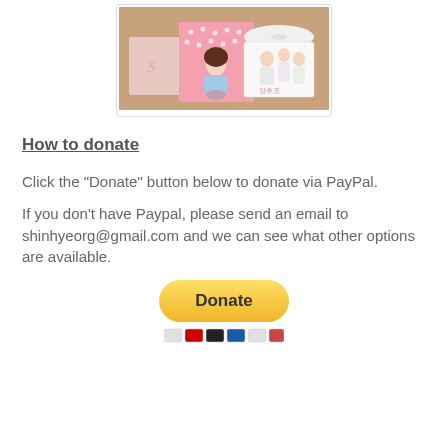[Figure (photo): Photo of K-pop merchandise items including a pink box, cartoon character card, CD/disc, and a photo card with people, placed on a wooden surface.]
How to donate
Click the "Donate" button below to donate via PayPal.
If you don't have Paypal, please send an email to shinhyeorg@gmail.com and we can see what other options are available.
[Figure (other): Yellow PayPal Donate button with payment card icons below it.]